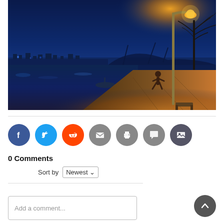[Figure (photo): Night/dusk photo of a waterfront promenade. A person is running under a glowing orange street lamp on the right. The background shows a city skyline with a bridge, trees with bare branches, and a calm water reflection under a deep blue twilight sky. The foreground path is lit with warm orange light.]
[Figure (infographic): Row of social share icon buttons: Facebook (blue), Twitter (blue), Reddit (orange), Email (gray), Print (gray), Comments (gray), Gallery (dark gray)]
0 Comments
Sort by Newest
Add a comment...